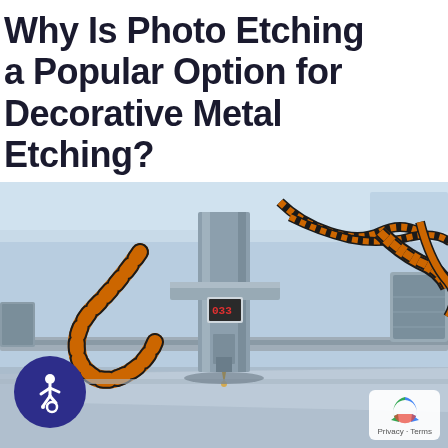Why Is Photo Etching a Popular Option for Decorative Metal Etching?
[Figure (photo): Industrial CNC machine or laser etching/cutting machine with orange cable chains, metal frame, digital display reading '033', and a flat metal sheet below the cutting head. Blue-tinted industrial background. Accessibility wheelchair icon badge in lower left and a Google reCAPTCHA Privacy-Terms badge in lower right.]